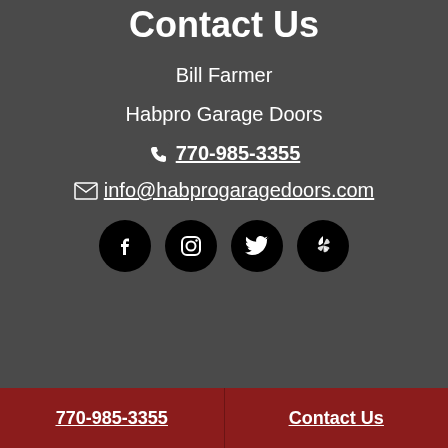Contact Us
Bill Farmer
Habpro Garage Doors
770-985-3355
info@habprogaragedoors.com
[Figure (infographic): Four social media icon buttons in black circles: Facebook, Instagram, Twitter, Yelp]
770-985-3355   Contact Us